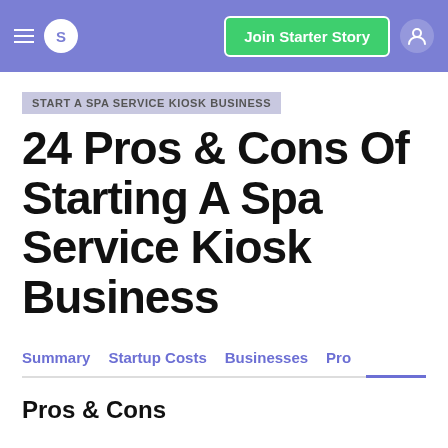S | Join Starter Story
START A SPA SERVICE KIOSK BUSINESS
24 Pros & Cons Of Starting A Spa Service Kiosk Business
Summary | Startup Costs | Businesses | Pro
Pros & Cons